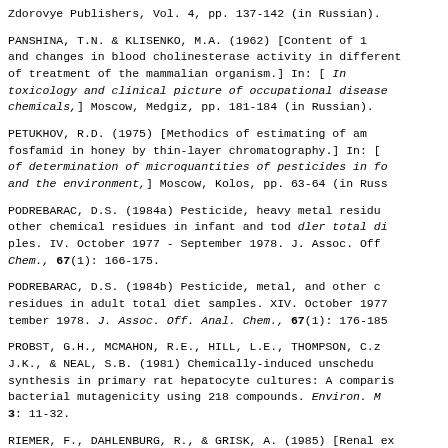Zdorovye Publishers, Vol. 4, pp. 137-142 (in Russian).
PANSHINA, T.N. & KLISENKO, M.A. (1962) [Content of 1 and changes in blood cholinesterase activity in different of treatment of the mammalian organism.] In: [ In toxicology and clinical picture of occupational disease chemicals,] Moscow, Medgiz, pp. 181-184 (in Russian).
PETUKHOV, R.D. (1975) [Methodics of estimating of am fosfamid in honey by thin-layer chromatography.] In: [ of determination of microquantities of pesticides in fo and the environment,] Moscow, Kolos, pp. 63-64 (in Russ
PODREBARAC, D.S. (1984a) Pesticide, heavy metal residu other chemical residues in infant and tod dler total di ples. IV. October 1977 - September 1978. J. Assoc. Off Chem., 67(1): 166-175.
PODREBARAC, D.S. (1984b) Pesticide, metal, and other c residues in adult total diet samples. XIV. October 1977 tember 1978. J. Assoc. Off. Anal. Chem., 67(1): 176-185
PROBST, G.H., MCMAHON, R.E., HILL, L.E., THOMPSON, C.z J.K., & NEAL, S.B. (1981) Chemically-induced unschedu synthesis in primary rat hepatocyte cultures: A comparis bacterial mutagenicity using 218 compounds. Environ. M 3: 11-32.
RIEMER, F., DAHLENBURG, R., & GRISK, A. (1985) [Renal ex of dimethylphosphate and its thio derivatives after appl